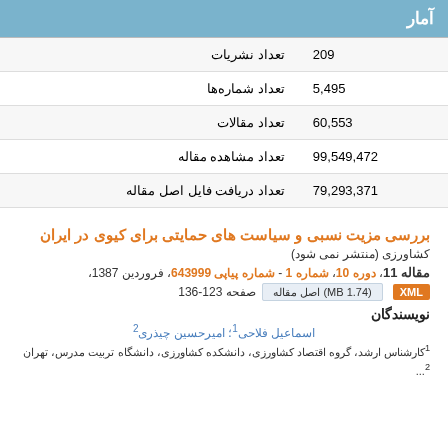آمار
|  |  |
| --- | --- |
| تعداد نشریات | 209 |
| تعداد شماره‌ها | 5,495 |
| تعداد مقالات | 60,553 |
| تعداد مشاهده مقاله | 99,549,472 |
| تعداد دریافت فایل اصل مقاله | 79,293,371 |
بررسی مزیت نسبی و سیاست های حمایتی برای کیوی در ایران
کشاورزی (منتشر نمی شود)
مقاله 11، دوره 10، شماره 1 - شماره پیاپی 643999، فروردین 1387، صفحه 123-136
نویسندگان
اسماعیل فلاحی۱؛ امیرحسین چیذری۲
۱کارشناس ارشد، گروه اقتصاد کشاورزی، دانشکده کشاورزی، دانشگاه تربیت مدرس، تهران